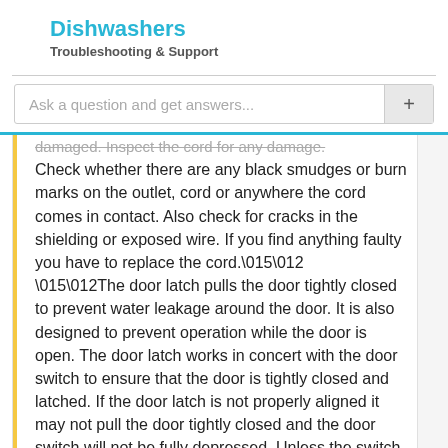Dishwashers
Troubleshooting & Support
Ask a question and get answers...
damaged. Inspect the cord for any damage. Check whether there are any black smudges or burn marks on the outlet, cord or anywhere the cord comes in contact. Also check for cracks in the shielding or exposed wire. If you find anything faulty you have to replace the cord.\015\012
\015\012The door latch pulls the door tightly closed to prevent water leakage around the door. It is also designed to prevent operation while the door is open. The door latch works in concert with the door switch to ensure that the door is tightly closed and latched. If the door latch is not properly aligned it may not pull the door tightly closed and the door switch will not be fully depressed. Unless the switch is fully depressed the dishwasher will not